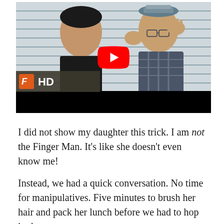[Figure (screenshot): A YouTube video thumbnail showing two people in conversation — a younger man on the left and an older man wearing a cap and glasses on the right, gesturing with his hands. A YouTube play button overlay is visible in the center. A film streaming badge with an orange 'F' logo and 'HD' text appears in the lower-left of the video. A black progress bar runs across the bottom.]
I did not show my daughter this trick. I am not the Finger Man. It's like she doesn't even know me!
Instead, we had a quick conversation. No time for manipulatives. Five minutes to brush her hair and pack her lunch before we had to hop in the car.